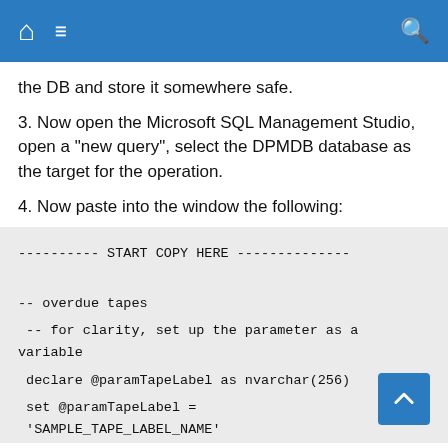Navigation header with home, menu, and search icons
the DB and store it somewhere safe.
3. Now open the Microsoft SQL Management Studio, open a "new query", select the DPMDB database as the target for the operation.
4. Now paste into the window the following:
---------- START COPY HERE --------------


-- overdue tapes

 -- for clarity, set up the parameter as a variable

 declare @paramTapeLabel as nvarchar(256)

 set @paramTapeLabel =
'SAMPLE_TAPE_LABEL_NAME'